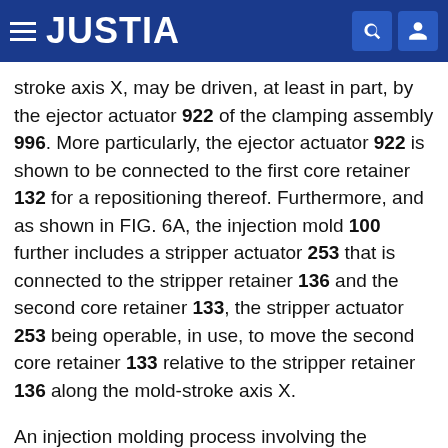JUSTIA
stroke axis X, may be driven, at least in part, by the ejector actuator 922 of the clamping assembly 996. More particularly, the ejector actuator 922 is shown to be connected to the first core retainer 132 for a repositioning thereof. Furthermore, and as shown in FIG. 6A, the injection mold 100 further includes a stripper actuator 253 that is connected to the stripper retainer 136 and the second core retainer 133, the stripper actuator 253 being operable, in use, to move the second core retainer 133 relative to the stripper retainer 136 along the mold-stroke axis X.
An injection molding process involving the injection mold 100 having an in-mold shutter 140 is illustrated in FIGS. 6A-6G. The molding process begins, as shown in FIG. 2A, with the injection mold 100 being positioned in the mold closed configuration C with the first mold shoe